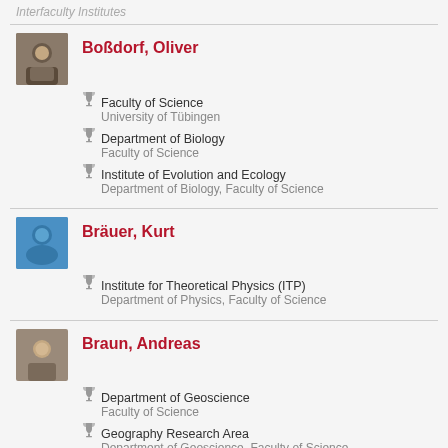Interfaculty Institutes
Boßdorf, Oliver
Faculty of Science — University of Tübingen
Department of Biology — Faculty of Science
Institute of Evolution and Ecology — Department of Biology, Faculty of Science
Bräuer, Kurt
Institute for Theoretical Physics (ITP) — Department of Physics, Faculty of Science
Braun, Andreas
Department of Geoscience — Faculty of Science
Geography Research Area — Department of Geoscience, Faculty of Science
Braun, Daniel